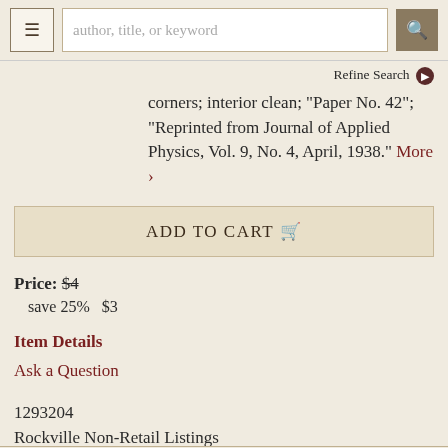author, title, or keyword [search bar] | Refine Search
corners; interior clean; "Paper No. 42"; "Reprinted from Journal of Applied Physics, Vol. 9, No. 4, April, 1938." More ›
ADD TO CART 🛒
Price: $4  save 25%   $3
Item Details
Ask a Question
1293204
Rockville Non-Retail Listings